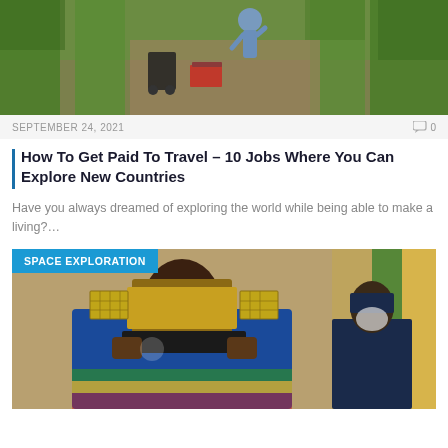[Figure (photo): Aerial view of a person harvesting strawberries in a farm field, with black carts and red strawberry crates visible between green plant rows.]
SEPTEMBER 24, 2021   💬 0
How To Get Paid To Travel – 10 Jobs Where You Can Explore New Countries
Have you always dreamed of exploring the world while being able to make a living?…
[Figure (photo): A person in a blue jacket and face mask holds a satellite model at a ceremony, with uniformed figures in the background. A 'SPACE EXPLORATION' category tag overlays the top-left of the image.]